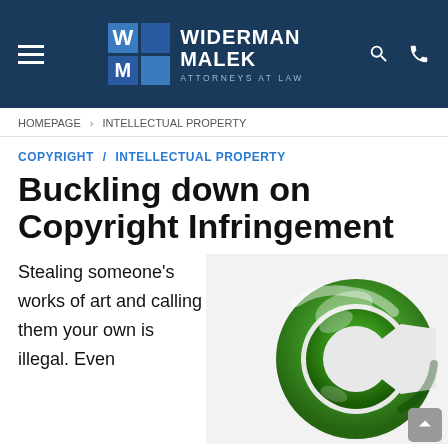Widerman Malek Attorneys at Law
HOMEPAGE > INTELLECTUAL PROPERTY
COPYRIGHT / INTELLECTUAL PROPERTY
Buckling down on Copyright Infringement
Stealing someone's works of art and calling them your own is illegal. Even
[Figure (illustration): 3D green glossy copyright symbol (©) on white background]